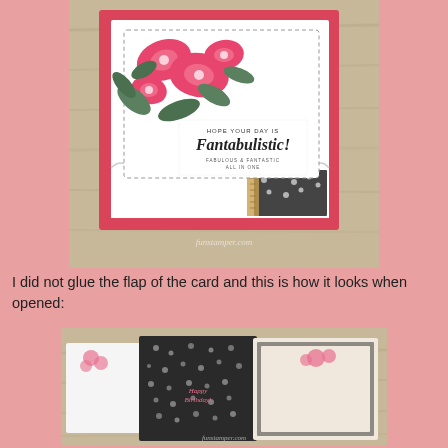[Figure (photo): A handmade greeting card with pink flowers and 'Fantabulistic!' text, shown closed from the front, resting on a wooden surface.]
I did not glue the flap of the card and this is how it looks when opened:
[Figure (photo): The same handmade greeting card opened to show floral black and white patterned interior with a pink floral accent and a beige panel, resting on a wooden surface.]